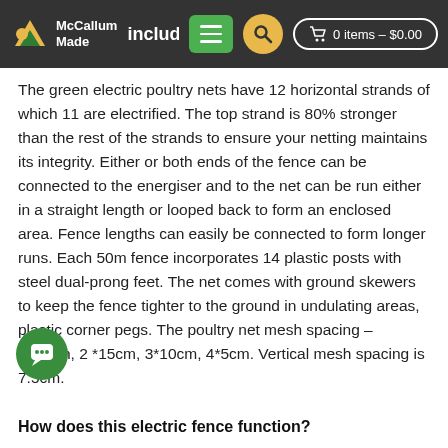McCallum Made — included in the bo… — 0 items – $0.00
The green electric poultry nets have 12 horizontal strands of which 11 are electrified. The top strand is 80% stronger than the rest of the strands to ensure your netting maintains its integrity. Either or both ends of the fence can be connected to the energiser and to the net can be run either in a straight length or looped back to form an enclosed area. Fence lengths can easily be connected to form longer runs. Each 50m fence incorporates 14 plastic posts with steel dual-prong feet. The net comes with ground skewers to keep the fence tighter to the ground in undulating areas, plastic corner pegs. The poultry net mesh spacing – 2*20cm, 2 *15cm, 3*10cm, 4*5cm. Vertical mesh spacing is 7.5cm.
How does this electric fence function?